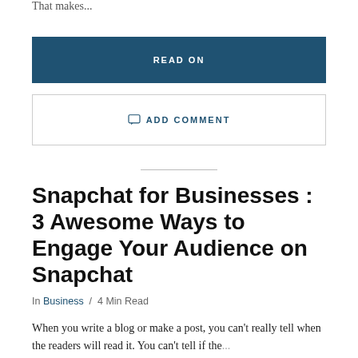That makes...
READ ON
ADD COMMENT
Snapchat for Businesses : 3 Awesome Ways to Engage Your Audience on Snapchat
In Business / 4 Min Read
When you write a blog or make a post, you can't really tell when the readers will read it. You can't tell if the...